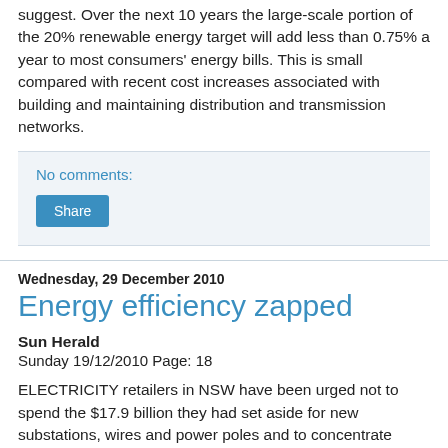suggest. Over the next 10 years the large-scale portion of the 20% renewable energy target will add less than 0.75% a year to most consumers' energy bills. This is small compared with recent cost increases associated with building and maintaining distribution and transmission networks.
No comments:
Share
Wednesday, 29 December 2010
Energy efficiency zapped
Sun Herald
Sunday 19/12/2010 Page: 18
ELECTRICITY retailers in NSW have been urged not to spend the $17.9 billion they had set aside for new substations, wires and power poles and to concentrate instead on making customers more energy efficient. If the spending goes ahead, household power bills could rise by as